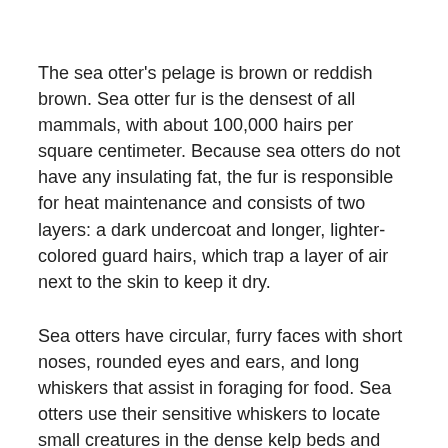The sea otter's pelage is brown or reddish brown. Sea otter fur is the densest of all mammals, with about 100,000 hairs per square centimeter. Because sea otters do not have any insulating fat, the fur is responsible for heat maintenance and consists of two layers: a dark undercoat and longer, lighter-colored guard hairs, which trap a layer of air next to the skin to keep it dry.
Sea otters have circular, furry faces with short noses, rounded eyes and ears, and long whiskers that assist in foraging for food. Sea otters use their sensitive whiskers to locate small creatures in the dense kelp beds and crevices.
The sea otter's hind legs are long and the paws are